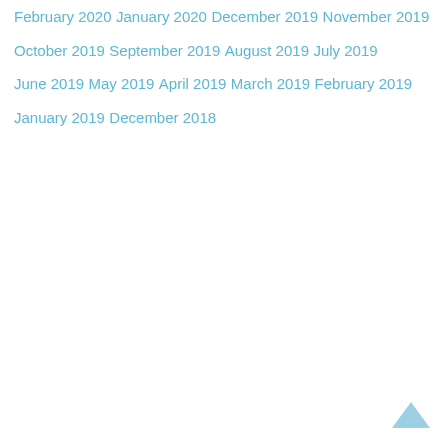February 2020
January 2020
December 2019
November 2019
October 2019
September 2019
August 2019
July 2019
June 2019
May 2019
April 2019
March 2019
February 2019
January 2019
December 2018